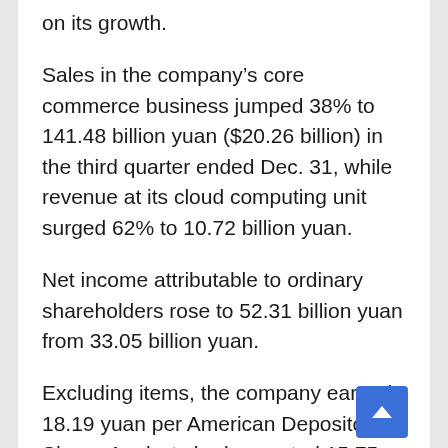on its growth.
Sales in the company's core commerce business jumped 38% to 141.48 billion yuan ($20.26 billion) in the third quarter ended Dec. 31, while revenue at its cloud computing unit surged 62% to 10.72 billion yuan.
Net income attributable to ordinary shareholders rose to 52.31 billion yuan from 33.05 billion yuan.
Excluding items, the company earned 18.19 yuan per American Depository Share. Analysts had expected 15.75 yuan per ADS, according to IBES data from Refinitiv.
Revenue rose about 38% to 161.46 billion